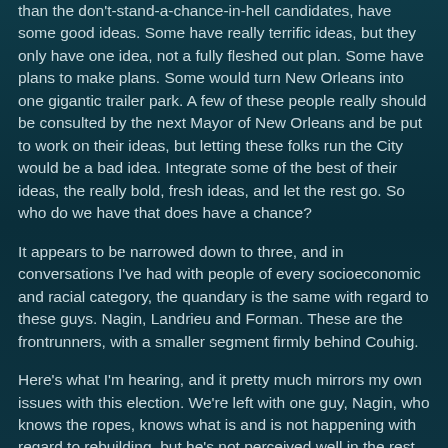than the don't-stand-a-chance-in-hell candidates, have some good ideas. Some have really terrific ideas, but they only have one idea, not a fully fleshed out plan. Some have plans to make plans. Some would turn New Orleans into one gigantic trailer park. A few of these people really should be consulted by the next Mayor of New Orleans and be put to work on their ideas, but letting these folks run the City would be a bad idea. Integrate some of the best of their ideas, the really bold, fresh ideas, and let the rest go. So who do we have that does have a chance?
It appears to be narrowed down to three, and in conversations I've had with people of every socioeconomic and racial category, the quandary is the same with regard to these guys. Nagin, Landrieu and Forman. These are the frontrunners, with a smaller segment firmly behind Couhig.
Here's what I'm hearing, and it pretty much mirrors my own issues with this election. We're left with one guy, Nagin, who knows the ropes, knows what is and is not happening with regard to rebuilding, but he's not perceived well in the rest of the country and probably burned too many bridges during